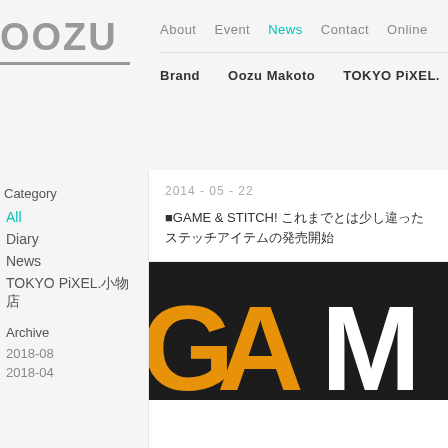OOZU | About | Event | News | Contact | Online | Brand | Oozu Makoto | TOKYO PiXEL.
Category
All
Diary
News
TOKYO PiXEL.
Archive
2018-08
2014 - 05 - 22
GAME & STITCH!
[Figure (photo): Dark black fabric/textile background with large orange and white bold letters 'GAM' visible, partial view of GAME & STITCH branding.]